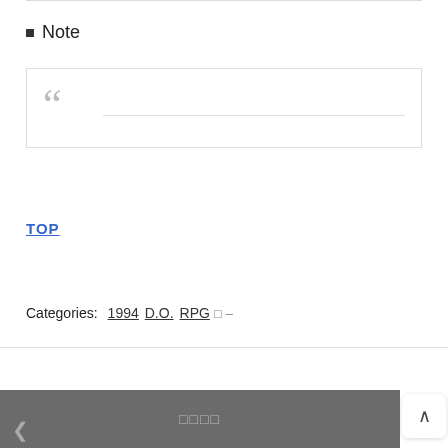Note
❝
TOP
Categories: 1994 D.O. RPG □ -
□□□□